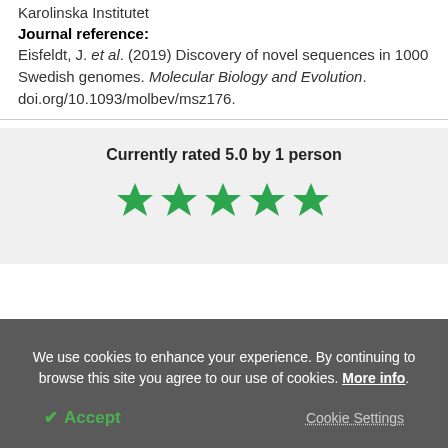Karolinska Institutet
Journal reference:
Eisfeldt, J. et al. (2019) Discovery of novel sequences in 1000 Swedish genomes. Molecular Biology and Evolution. doi.org/10.1093/molbev/msz176.
[Figure (other): Five green filled stars rating widget with text 'Currently rated 5.0 by 1 person']
We use cookies to enhance your experience. By continuing to browse this site you agree to our use of cookies. More info.
✔ Accept
Cookie Settings